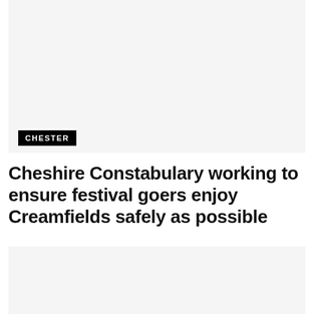[Figure (photo): Top image placeholder – light grey background, likely a photo related to Creamfields festival]
CHESTER
Cheshire Constabulary working to ensure festival goers enjoy Creamfields safely as possible
[Figure (photo): Bottom image placeholder – light grey background, likely a photo related to Creamfields festival]